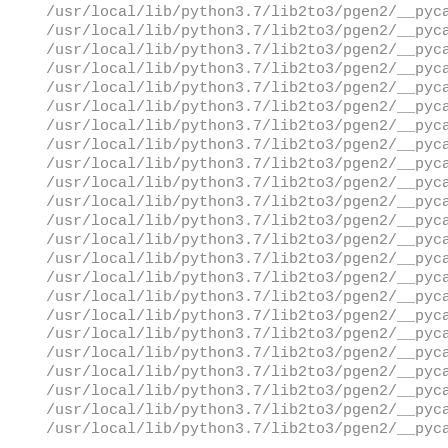/usr/local/lib/python3.7/lib2to3/pgen2/__pycache
/usr/local/lib/python3.7/lib2to3/pgen2/__pycache
/usr/local/lib/python3.7/lib2to3/pgen2/__pycache
/usr/local/lib/python3.7/lib2to3/pgen2/__pycache
/usr/local/lib/python3.7/lib2to3/pgen2/__pycache
/usr/local/lib/python3.7/lib2to3/pgen2/__pycache
/usr/local/lib/python3.7/lib2to3/pgen2/__pycache
/usr/local/lib/python3.7/lib2to3/pgen2/__pycache
/usr/local/lib/python3.7/lib2to3/pgen2/__pycache
/usr/local/lib/python3.7/lib2to3/pgen2/__pycache
/usr/local/lib/python3.7/lib2to3/pgen2/__pycache
/usr/local/lib/python3.7/lib2to3/pgen2/__pycache
/usr/local/lib/python3.7/lib2to3/pgen2/__pycache
/usr/local/lib/python3.7/lib2to3/pgen2/__pycache
/usr/local/lib/python3.7/lib2to3/pgen2/__pycache
/usr/local/lib/python3.7/lib2to3/pgen2/__pycache
/usr/local/lib/python3.7/lib2to3/pgen2/__pycache
/usr/local/lib/python3.7/lib2to3/pgen2/__pycache
/usr/local/lib/python3.7/lib2to3/pgen2/__pycache
/usr/local/lib/python3.7/lib2to3/pgen2/__pycache
/usr/local/lib/python3.7/lib2to3/pgen2/__pycache
/usr/local/lib/python3.7/lib2to3/pgen2/__pycache
/usr/local/lib/python3.7/lib2to3/pgen2/__pycache